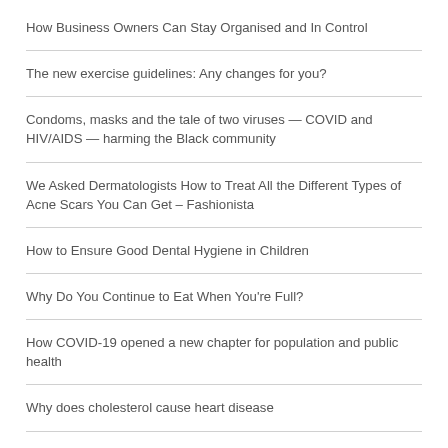How Business Owners Can Stay Organised and In Control
The new exercise guidelines: Any changes for you?
Condoms, masks and the tale of two viruses — COVID and HIV/AIDS — harming the Black community
We Asked Dermatologists How to Treat All the Different Types of Acne Scars You Can Get – Fashionista
How to Ensure Good Dental Hygiene in Children
Why Do You Continue to Eat When You're Full?
How COVID-19 opened a new chapter for population and public health
Why does cholesterol cause heart disease
What causes anger with anxiety